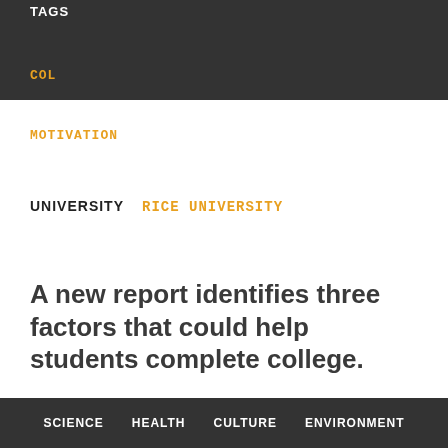TAGS
COL[LEGE]
MOTIVATION
UNIVERSITY    RICE UNIVERSITY
A new report identifies three factors that could help students complete college.
US college enrollments are increasing, suggesting greater educational attainment; however, national college completion rates are lagging behind other developed nations.
SCIENCE    HEALTH    CULTURE    ENVIRONMENT